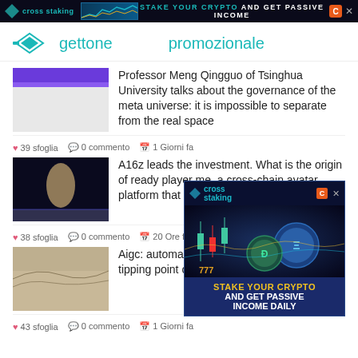[Figure (infographic): Cross staking top ad banner with dark background, diamond logo, chart image, tagline STAKE YOUR CRYPTO AND GET PASSIVE INCOME, orange C badge, and X close button]
gettone   promozionale
[Figure (photo): Thumbnail image with purple/blue gradient top portion for first article]
Professor Meng Qingguo of Tsinghua University talks about the governance of the meta universe: it is impossible to separate from the real space
39 sfoglia   0 commento   1 Giorni fa
[Figure (photo): Thumbnail showing a 3D avatar/figure on dark background for second article]
A16z leads the investment. What is the origin of ready player me, a cross-chain avatar platform that Supports Interoperability?
38 sfoglia   0 commento   20 Ore fa
[Figure (infographic): Cross staking overlay ad with dark blue background, coins, candlestick charts, STAKE YOUR CRYPTO AND GET PASSIVE INCOME DAILY text]
[Figure (photo): Thumbnail showing traditional Chinese landscape painting for third article]
Aigc: automated content generation, the next tipping point of AI?
43 sfoglia   0 commento   1 Giorni fa